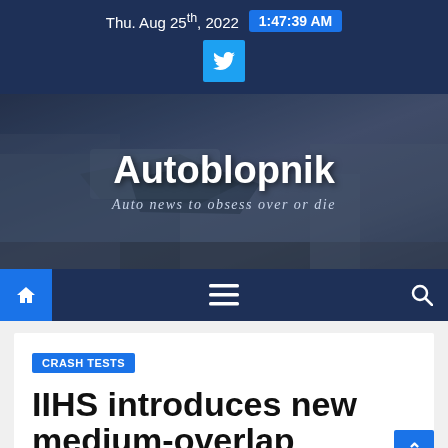Thu. Aug 25th, 2022  1:47:39 AM
[Figure (screenshot): Twitter bird icon button (blue square)]
[Figure (photo): Banner image showing a crashed/damaged car with crumpled front end, overlaid with site title 'Autoblopnik' and subtitle 'Auto news to obsess over or die']
[Figure (screenshot): Navigation bar with home icon (blue square), hamburger menu icon, and search icon on dark blue background]
CRASH TESTS
IIHS introduces new medium-overlap